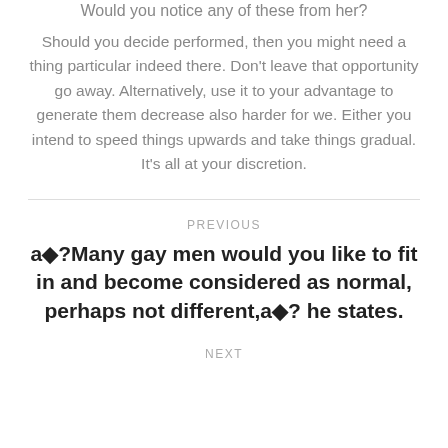Would you notice any of these from her?
Should you decide performed, then you might need a thing particular indeed there. Don't leave that opportunity go away. Alternatively, use it to your advantage to generate them decrease also harder for we. Either you intend to speed things upwards and take things gradual. It's all at your discretion.
PREVIOUS
a◆?Many gay men would you like to fit in and become considered as normal, perhaps not different,a◆? he states.
NEXT